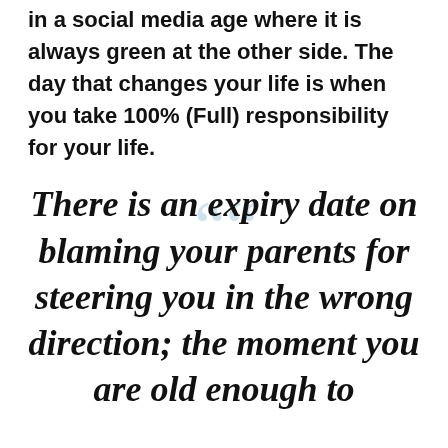in a social media age where it is always green at the other side. The day that changes your life is when you take 100% (Full) responsibility for your life.
There is an expiry date on blaming your parents for steering you in the wrong direction; the moment you are old enough to